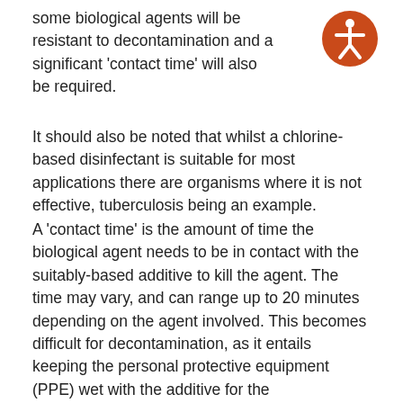some biological agents will be resistant to decontamination and a significant ‘contact time’ will also be required.
[Figure (illustration): Orange circle with white accessibility/person icon inside]
It should also be noted that whilst a chlorine-based disinfectant is suitable for most applications there are organisms where it is not effective, tuberculosis being an example.
A ‘contact time’ is the amount of time the biological agent needs to be in contact with the suitably-based additive to kill the agent. The time may vary, and can range up to 20 minutes depending on the agent involved. This becomes difficult for decontamination, as it entails keeping the personal protective equipment (PPE) wet with the additive for the recommended duration; when the wearer is waiting for extraction this becomes a significant issue. Advice from subject matter experts should be sought, to determine how long a contact time is required. It may be